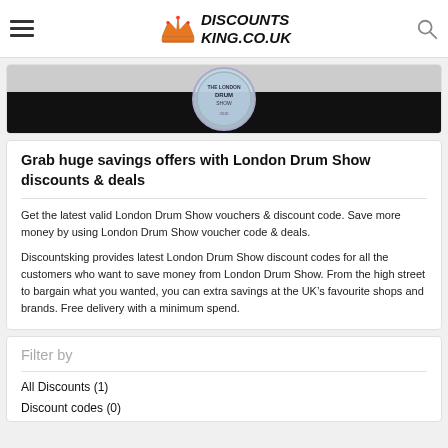[Figure (logo): Discountsking.co.uk logo with crown icon and italic bold text]
[Figure (photo): London Drum Show event image partially visible, black and grey background with circular badge]
Grab huge savings offers with London Drum Show discounts & deals
Get the latest valid London Drum Show vouchers & discount code. Save more money by using London Drum Show voucher code & deals.
Discountsking provides latest London Drum Show discount codes for all the customers who want to save money from London Drum Show. From the high street to bargain what you wanted, you can extra savings at the UK’s favourite shops and brands. Free delivery with a minimum spend.
Filter by
All Discounts (1)
Discount codes (0)